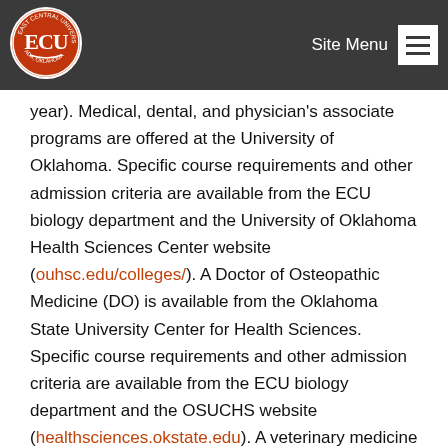[Figure (logo): East Central University (ECU) circular logo with red background and white ECU letters]
Site Menu
year).  Medical, dental, and physician's associate programs are offered at the University of Oklahoma.  Specific course requirements and other admission criteria are available from the ECU biology department and the University of Oklahoma Health Sciences Center website (ouhsc.edu/colleges/). A Doctor of Osteopathic Medicine (DO) is available from the Oklahoma State University Center for Health Sciences.  Specific course requirements and other admission criteria are available from the ECU biology department and the OSUCHS website (healthsciences.okstate.edu). A veterinary medicine program is available from the Oklahoma State University Center for Veterinary Health Sciences.  Specific course requirements and other admission criteria are available from the ECU biology department and the OSUCVHS website (cvhs.okstate.edu).  An Optometry program is available at Northeastern State